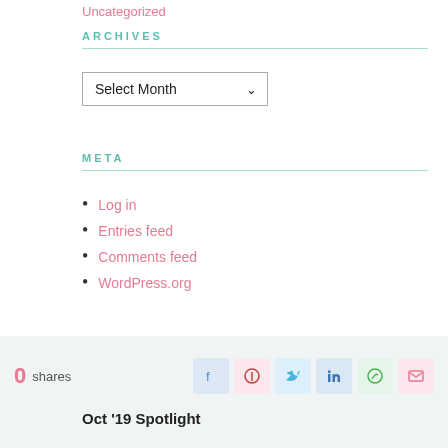Uncategorized
ARCHIVES
Select Month
META
Log in
Entries feed
Comments feed
WordPress.org
0 shares
Oct '19 Spotlight